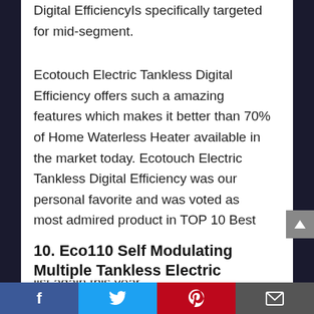Digital EfficiencyIs specifically targeted for mid-segment.
Ecotouch Electric Tankless Digital Efficiency offers such a amazing features which makes it better than 70% of Home Waterless Heater available in the market today. Ecotouch Electric Tankless Digital Efficiency was our personal favorite and was voted as most admired product in TOP 10 Best Home Waterless Heater to Buy in 2020 – TOP Picks. We hope it makes to that list again this year.
10. Eco110 Self Modulating Multiple Tankless Electric